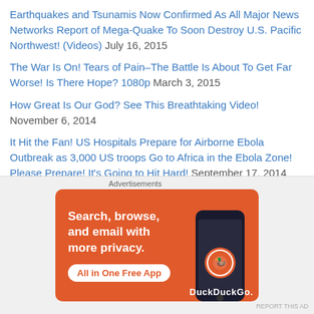Earthquakes and Tsunamis Now Confirmed As All Major News Networks Report of Mega-Quake To Soon Destroy U.S. Pacific Northwest! (Videos) July 16, 2015
The War Is On! Tears of Pain–The Battle Is About To Get Far Worse! Is There Hope? 1080p March 3, 2015
How Great Is Our God? See This Breathtaking Video! November 6, 2014
It Hit the Fan! US Hospitals Prepare for Airborne Ebola Outbreak as 3,000 US troops Go to Africa in the Ebola Zone! Please Prepare! It's Going to Hit Hard! September 17, 2014
Alert! Global Cabal is Funding This “Religious Group” Through the Food You Eat! Warning! Reading This Will Put a Target on Your Back… September 16, 2014
Top-Secret Document Uncovers the Elites Latest Agenda for Our US
[Figure (screenshot): DuckDuckGo advertisement banner with orange background. Text: 'Search, browse, and email with more privacy. All in One Free App' with DuckDuckGo logo and phone image.]